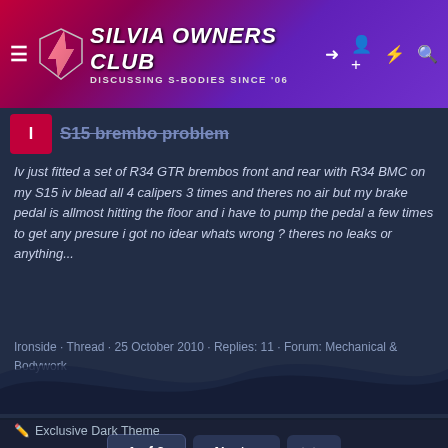SILVIA OWNERS CLUB - DISCUSSING S-BODIES SINCE '06
S15 brembo problem
Iv just fitted a set of R34 GTR brembos front and rear with R34 BMC on my S15 iv blead all 4 calipers 3 times and theres no air but my brake pedal is allmost hitting the floor and i have to pump the pedal a few times to get any presure i got no idear whats wrong ? theres no leaks or anything...
Ironside · Thread · 25 October 2010 · Replies: 11 · Forum: Mechanical & Bodywork
1 of 2   Next   ▶▶
Tags
Exclusive Dark Theme